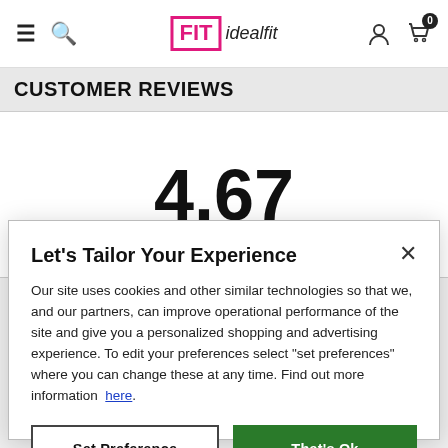≡  🔍  FIT idealfit  [user icon]  [cart 0]
CUSTOMER REVIEWS
4.67
Let's Tailor Your Experience
Our site uses cookies and other similar technologies so that we, and our partners, can improve operational performance of the site and give you a personalized shopping and advertising experience. To edit your preferences select "set preferences" where you can change these at any time. Find out more information here.
Set Preference | That's Ok